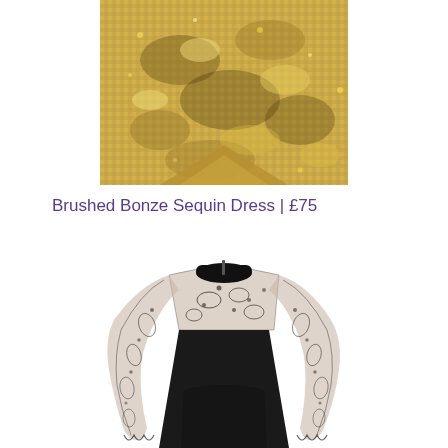[Figure (photo): Close-up of a gold/bronze sequin dress fabric showing shimmering metallic sequins in bronze and gold tones]
Brushed Bonze Sequin Dress | £75
[Figure (photo): Black dress with sheer lace long sleeves and lace yoke/neckline panel featuring floral embroidery detail, fitted silhouette]